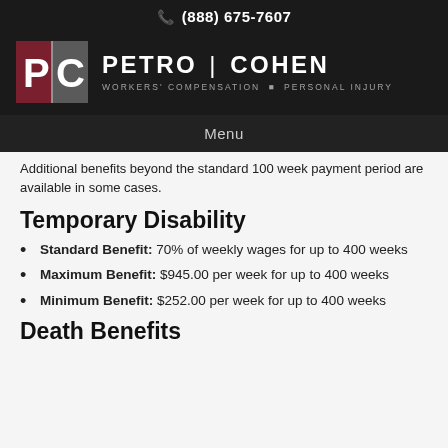📞 (888) 675-7607
[Figure (logo): Petro Cohen law firm logo with PC initials in dark red and gray squares, firm name 'PETRO | COHEN' and tagline 'WORKERS' COMPENSATION • PERSONAL INJURY']
Menu
Additional benefits beyond the standard 100 week payment period are available in some cases.
Temporary Disability
Standard Benefit: 70% of weekly wages for up to 400 weeks
Maximum Benefit: $945.00 per week for up to 400 weeks
Minimum Benefit: $252.00 per week for up to 400 weeks
Death Benefits